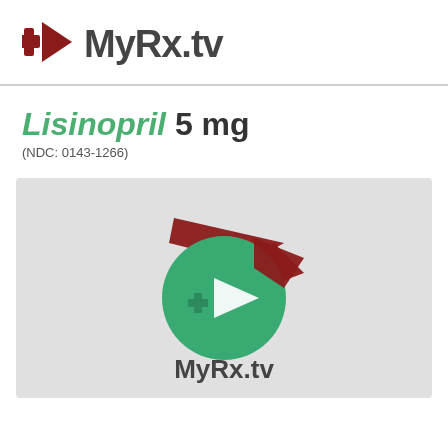MyRx.tv
Lisinopril 5mg
(NDC: 0143-1266)
[Figure (logo): MyRx.tv logo with green play button circle and dark red arrow/cross icon, with text MyRx.tv below]